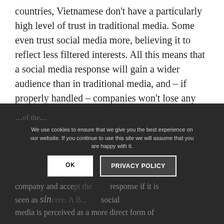countries, Vietnamese don't have a particularly high level of trust in traditional media. Some even trust social media more, believing it to reflect less filtered interests. All this means that a social media response will gain a wider audience than in traditional media, and – if properly handled – companies won't lose any trust because of it.
2. Stakeholders prefer a social media response
We use cookies to ensure that we give you the best experience on our website. If you continue to use this site we will assume that you are happy with it.
company and acce... response if it is seen as sin... social media is perceived as a more direct form of